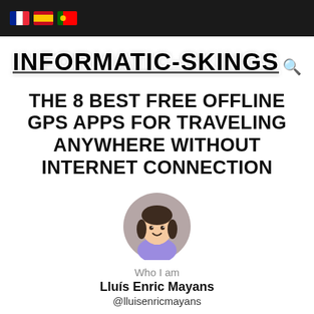🇫🇷 🇪🇸 🇵🇹 (flag icons in top bar)
INFORMATIC-SKINGS 🔍
THE 8 BEST FREE OFFLINE GPS APPS FOR TRAVELING ANYWHERE WITHOUT INTERNET CONNECTION
[Figure (illustration): Circular avatar of a cartoon woman with dark hair and purple top]
Who I am
Lluís Enric Mayans
@lluisenricmayans